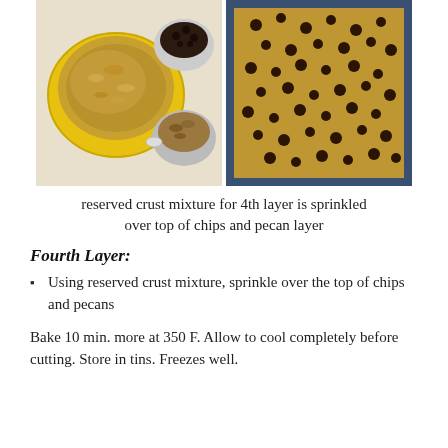[Figure (photo): Two food photos side by side: left shows a yellow bowl with oat-based crust mixture and two smaller bowls with chocolate chips and pecans on a marble surface; right shows a baking pan with chocolate chips and pecan layer on top of the bar mixture.]
reserved crust mixture for 4th layer is sprinkled over top of chips and pecan layer
Fourth Layer:
Using reserved crust mixture, sprinkle over the top of chips and pecans
Bake 10 min. more at 350 F. Allow to cool completely before cutting. Store in tins. Freezes well.